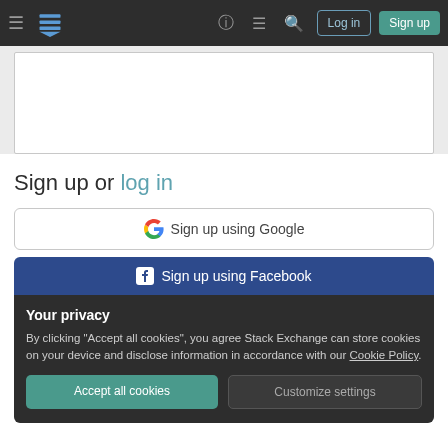Stack Exchange navigation bar with Log in and Sign up buttons
[Figure (screenshot): Empty white text area / content box]
Sign up or log in
Sign up using Google
Sign up using Facebook
Your privacy
By clicking "Accept all cookies", you agree Stack Exchange can store cookies on your device and disclose information in accordance with our Cookie Policy.
Accept all cookies
Customize settings